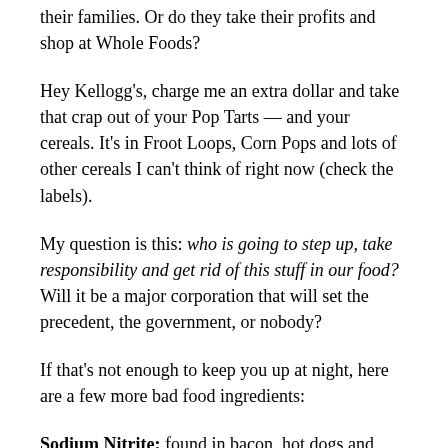their families. Or do they take their profits and shop at Whole Foods?
Hey Kellogg's, charge me an extra dollar and take that crap out of your Pop Tarts — and your cereals. It's in Froot Loops, Corn Pops and lots of other cereals I can't think of right now (check the labels).
My question is this: who is going to step up, take responsibility and get rid of this stuff in our food? Will it be a major corporation that will set the precedent, the government, or nobody?
If that's not enough to keep you up at night, here are a few more bad food ingredients:
Sodium Nitrite: found in bacon, hot dogs and other processed meats kids and parents like to eat. Why is it bad? It causes colon cancer and pancreatic cancer. It has